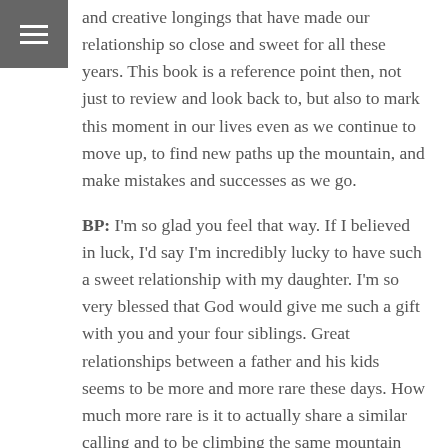and creative longings that have made our relationship so close and sweet for all these years. This book is a reference point then, not just to review and look back to, but also to mark this moment in our lives even as we continue to move up, to find new paths up the mountain, and make mistakes and successes as we go.
BP: I'm so glad you feel that way. If I believed in luck, I'd say I'm incredibly lucky to have such a sweet relationship with my daughter. I'm so very blessed that God would give me such a gift with you and your four siblings. Great relationships between a father and his kids seems to be more and more rare these days. How much more rare is it to actually share a similar calling and to be climbing the same mountain together?
Well, this has been super fun! We'll have to do it again some time. For now, whether it's too smarmy or not, I'm